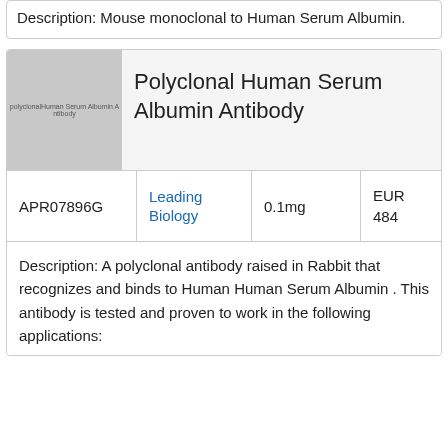Description: Mouse monoclonal to Human Serum Albumin.
[Figure (photo): Product image placeholder for polyclonal Human Serum Albumin Antibody, gray rectangle with small text label]
Polyclonal Human Serum Albumin Antibody
| Catalog | Supplier | Amount | Price |
| --- | --- | --- | --- |
| APR07896G | Leading Biology | 0.1mg | EUR 484 |
Description: A polyclonal antibody raised in Rabbit that recognizes and binds to Human Human Serum Albumin . This antibody is tested and proven to work in the following applications: